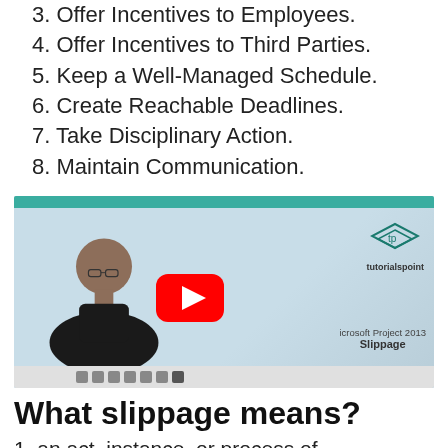3. Offer Incentives to Employees.
4. Offer Incentives to Third Parties.
5. Keep a Well-Managed Schedule.
6. Create Reachable Deadlines.
7. Take Disciplinary Action.
8. Maintain Communication.
[Figure (screenshot): YouTube video thumbnail showing a man presenting in front of a Tutorialspoint slide about Microsoft Project 2013 Slippage, with a red YouTube play button overlay.]
What slippage means?
1. an act, instance, or process of